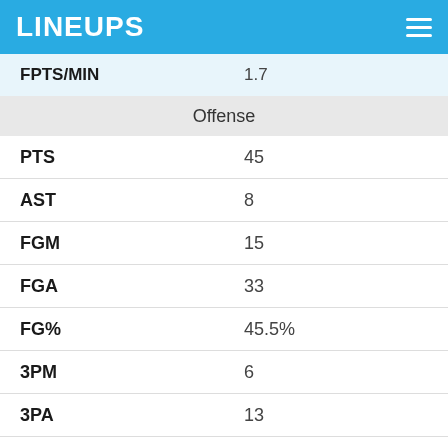LINEUPS
| Stat | Value |
| --- | --- |
| FPTS/MIN | 1.7 |
| Offense |  |
| PTS | 45 |
| AST | 8 |
| FGM | 15 |
| FGA | 33 |
| FG% | 45.5% |
| 3PM | 6 |
| 3PA | 13 |
| 3P% | 46.2% |
| FTM | 9 |
| FTA | 13 |
| FT% | 69.2% |